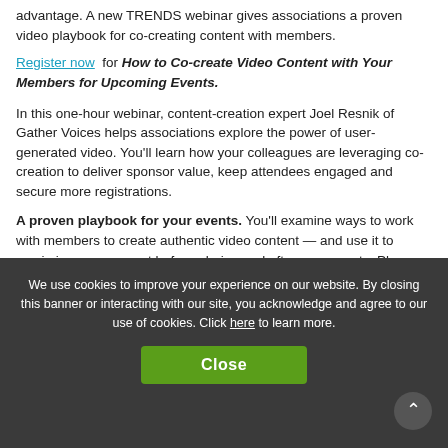advantage. A new TRENDS webinar gives associations a proven video playbook for co-creating content with members.
Register now for How to Co-create Video Content with Your Members for Upcoming Events.
In this one-hour webinar, content-creation expert Joel Resnik of Gather Voices helps associations explore the power of user-generated video. You'll learn how your colleagues are leveraging co-creation to deliver sponsor value, keep attendees engaged and secure more registrations.
A proven playbook for your events. You'll examine ways to work with members to create authentic video content — and use it to maximize engagement before, during and after your events. Plus, you'll have the chance to ask your own questions during the Q&A portion of the webinar.
We use cookies to improve your experience on our website. By closing this banner or interacting with our site, you acknowledge and agree to our use of cookies. Click here to learn more.